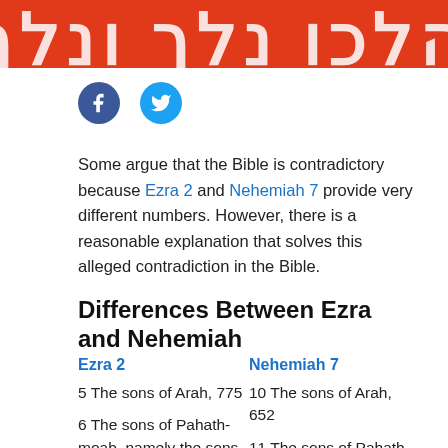[Figure (illustration): Red banner with white decorative Hebrew or stylized text characters]
[Figure (infographic): Facebook and Twitter social media icon circles]
Some argue that the Bible is contradictory because Ezra 2 and Nehemiah 7 provide very different numbers. However, there is a reasonable explanation that solves this alleged contradiction in the Bible.
Differences Between Ezra and Nehemiah
| Ezra 2 | Nehemiah 7 |
| --- | --- |
| 5 The sons of Arah, 775 | 10 The sons of Arah, 652 |
| 6 The sons of Pahath-moab, namely the sons of Jeshua and Joab, 2,812 | 11 The sons of Pahath-moab, namely the sons of Jeshua and Joab, 2,818 |